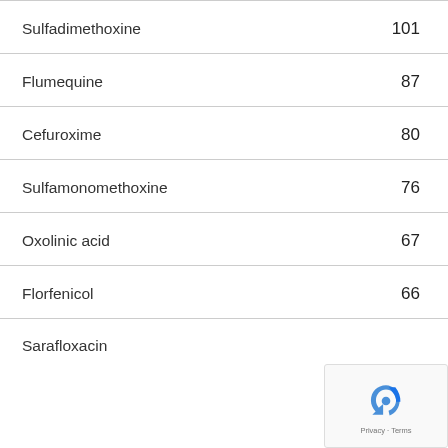| Drug | Value |
| --- | --- |
| Sulfadimethoxine | 101 |
| Flumequine | 87 |
| Cefuroxime | 80 |
| Sulfamonomethoxine | 76 |
| Oxolinic acid | 67 |
| Florfenicol | 66 |
| Sarafloxacin |  |